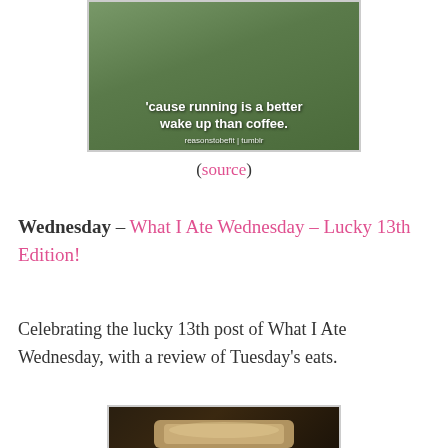[Figure (photo): Fitness motivational image showing a runner with text overlay: "'cause running is a better wake up than coffee." with attribution "reasonstobefit | tumblr"]
(source)
Wednesday – What I Ate Wednesday – Lucky 13th Edition!
Celebrating the lucky 13th post of What I Ate Wednesday, with a review of Tuesday's eats.
[Figure (photo): Food photo showing what appears to be a baked good or toast on a dark background.]